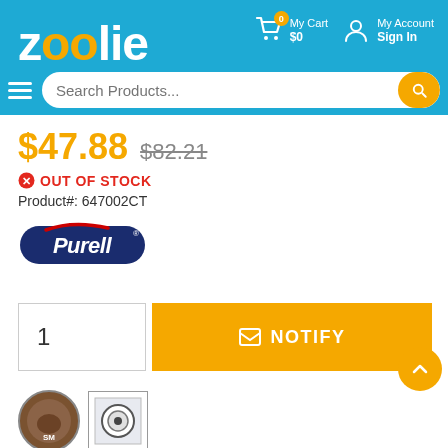[Figure (screenshot): Zoolie e-commerce website header with logo, cart, account icons, and search bar]
$47.88  $82.21
OUT OF STOCK
Product#: 647002CT
[Figure (logo): Purell brand logo]
1  NOTIFY
[Figure (photo): Two product thumbnail images]